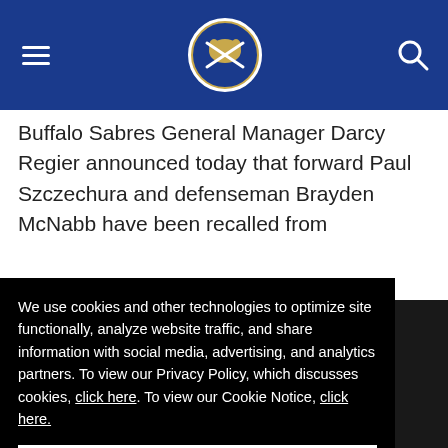Buffalo Sabres website header with hamburger menu, logo, and search icon
Buffalo Sabres General Manager Darcy Regier announced today that forward Paul Szczechura and defenseman Brayden McNabb have been recalled from
We use cookies and other technologies to optimize site functionally, analyze website traffic, and share information with social media, advertising, and analytics partners. To view our Privacy Policy, which discusses cookies, click here. To view our Cookie Notice, click here.
ACCEPT